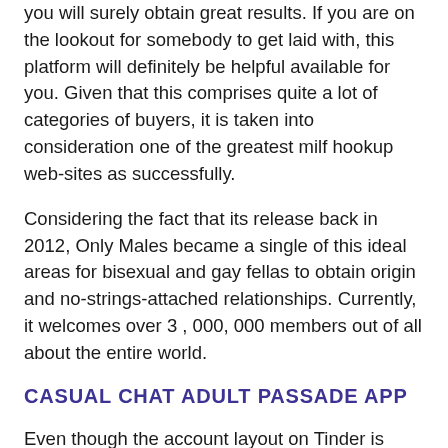you will surely obtain great results. If you are on the lookout for somebody to get laid with, this platform will definitely be helpful available for you. Given that this comprises quite a lot of categories of buyers, it is taken into consideration one of the greatest milf hookup web-sites as successfully.
Considering the fact that its release back in 2012, Only Males became a single of this ideal areas for bisexual and gay fellas to obtain origin and no-strings-attached relationships. Currently, it welcomes over 3 , 000, 000 members out of all about the entire world.
CASUAL CHAT ADULT PASSADE APP
Even though the account layout on Tinder is quite a bit less robust since other networks, it is simple to uncover a hookup having a very simple swipe!